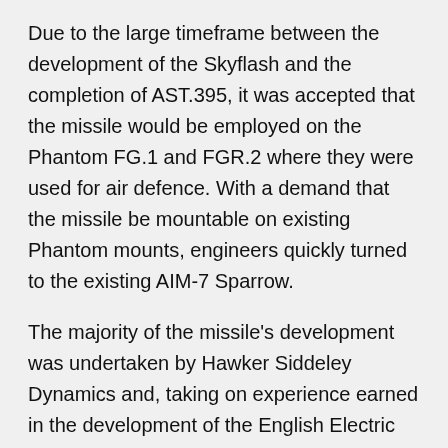Due to the large timeframe between the development of the Skyflash and the completion of AST.395, it was accepted that the missile would be employed on the Phantom FG.1 and FGR.2 where they were used for air defence. With a demand that the missile be mountable on existing Phantom mounts, engineers quickly turned to the existing AIM-7 Sparrow.
The majority of the missile's development was undertaken by Hawker Siddeley Dynamics and, taking on experience earned in the development of the English Electric Lightning's AIRPASS radar, an inverse monopulse radar seeker was developed by Marconi GEC for the Skyflash.
By 1977, the Skyflash was nearing completion with a whole host of improvements over the AIM-7E-2 from